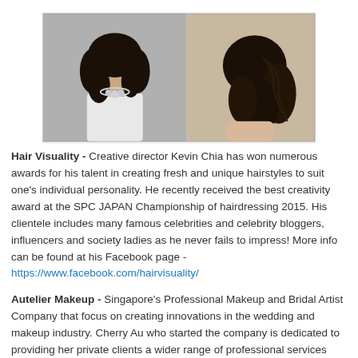[Figure (photo): Two side-by-side photos of a woman with long curly dark hair. Left photo shows her from shoulders up wearing a white top and statement necklace. Right photo shows the back/side of her hair styled in loose curls.]
Hair Visuality - Creative director Kevin Chia has won numerous awards for his talent in creating fresh and unique hairstyles to suit one's individual personality. He recently received the best creativity award at the SPC JAPAN Championship of hairdressing 2015. His clientele includes many famous celebrities and celebrity bloggers, influencers and society ladies as he never fails to impress! More info can be found at his Facebook page - https://www.facebook.com/hairvisuality/
Autelier Makeup - Singapore's Professional Makeup and Bridal Artist Company that focus on creating innovations in the wedding and makeup industry. Cherry Au who started the company is dedicated to providing her private clients a wider range of professional services that include makeup,